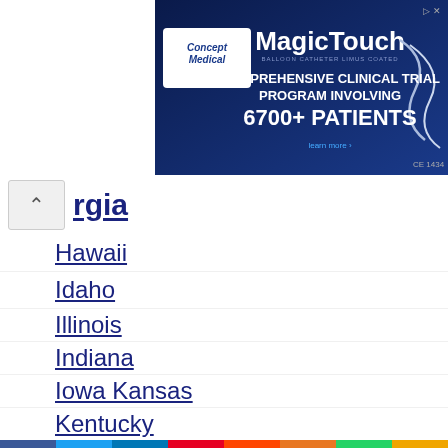[Figure (screenshot): MagicTouch advertisement banner with Concept Medical logo on dark blue background showing 'COMPREHENSIVE CLINICAL TRIAL PROGRAM INVOLVING 6700+ PATIENTS']
rgia (Georgia - collapsed section header with up arrow)
Hawaii
Idaho
Illinois
Indiana
Iowa Kansas
Kentucky
[Figure (screenshot): Bottom advertisement bar with 'Search For' label and 'Application To Apply For Disability >' in teal/blue background]
[Figure (screenshot): Social media sharing bar with Facebook, Twitter, LinkedIn, Pinterest, Reddit, Mix, WhatsApp, Share buttons]